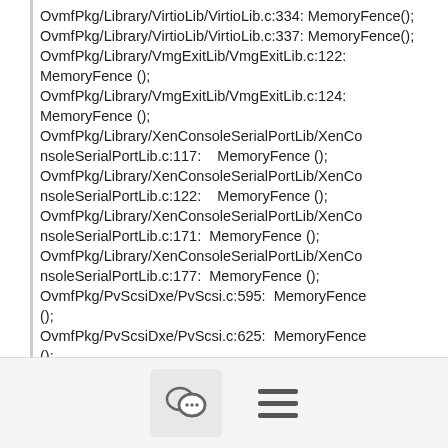OvmfPkg/Library/VirtioLib/VirtioLib.c:334: MemoryFence(); OvmfPkg/Library/VirtioLib/VirtioLib.c:337: MemoryFence(); OvmfPkg/Library/VmgExitLib/VmgExitLib.c:122: MemoryFence (); OvmfPkg/Library/VmgExitLib/VmgExitLib.c:124: MemoryFence (); OvmfPkg/Library/XenConsoleSerialPortLib/XenConsoleSerialPortLib.c:117: MemoryFence (); OvmfPkg/Library/XenConsoleSerialPortLib/XenConsoleSerialPortLib.c:122: MemoryFence (); OvmfPkg/Library/XenConsoleSerialPortLib/XenConsoleSerialPortLib.c:171: MemoryFence (); OvmfPkg/Library/XenConsoleSerialPortLib/XenConsoleSerialPortLib.c:177: MemoryFence (); OvmfPkg/PvScsiDxe/PvScsi.c:595: MemoryFence (); OvmfPkg/PvScsiDxe/PvScsi.c:625: MemoryFence ();
[Figure (other): Bottom toolbar with chat bubble icon button and hamburger menu icon]